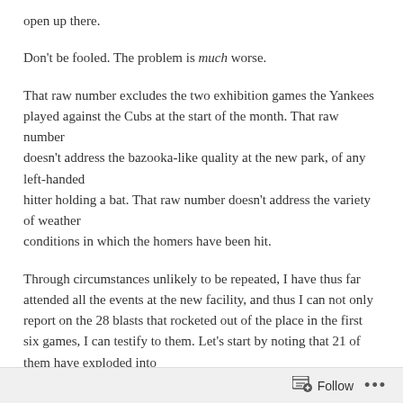open up there.
Don't be fooled. The problem is much worse.
That raw number excludes the two exhibition games the Yankees played against the Cubs at the start of the month. That raw number doesn't address the bazooka-like quality at the new park, of any left-handed hitter holding a bat. That raw number doesn't address the variety of weather conditions in which the homers have been hit.
Through circumstances unlikely to be repeated, I have thus far attended all the events at the new facility, and thus I can not only report on the 28 blasts that rocketed out of the place in the first six games, I can testify to them. Let's start by noting that 21 of them have exploded into rightfield (and only a few have “just made it,” pretty much invalidating the
Follow ...